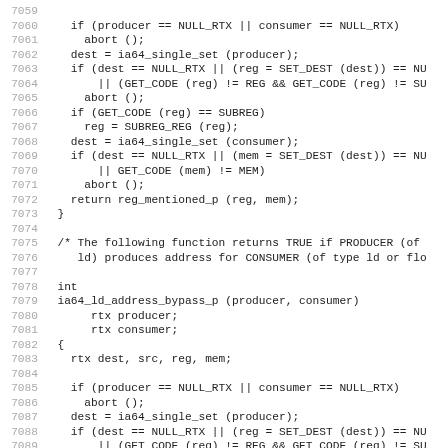Source code listing, lines 7059-7090, C programming language code for ia64 address bypass functions